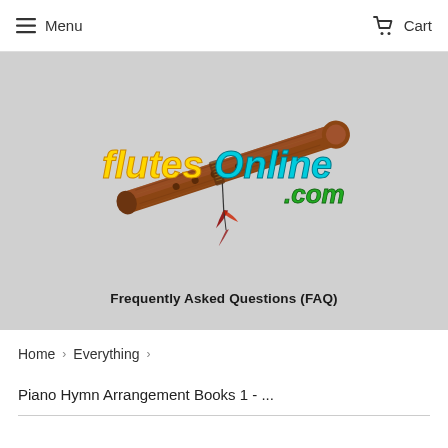Menu   Cart
[Figure (logo): FlutesOnline.com logo with a Native American flute illustration and stylized colorful text, over a gray banner background]
Frequently Asked Questions (FAQ)
Home > Everything >
Piano Hymn Arrangement Books 1 - ...